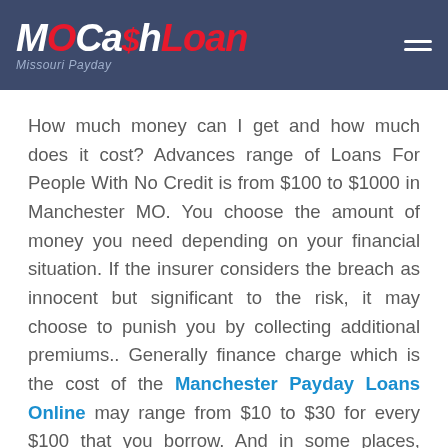MOCa$hLoan — Missouri Payday
How much money can I get and how much does it cost? Advances range of Loans For People With No Credit is from $100 to $1000 in Manchester MO. You choose the amount of money you need depending on your financial situation. If the insurer considers the breach as innocent but significant to the risk, it may choose to punish you by collecting additional premiums.. Generally finance charge which is the cost of the Manchester Payday Loans Online may range from $10 to $30 for every $100 that you borrow. And in some places, even if...